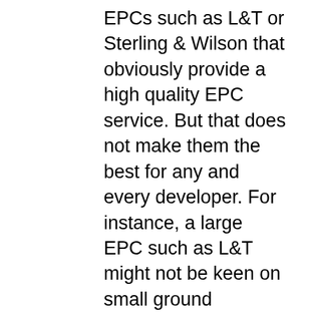EPCs such as L&T or Sterling & Wilson that obviously provide a high quality EPC service. But that does not make them the best for any and every developer. For instance, a large EPC such as L&T might not be keen on small ground mounted project – say, a 1 MW solar power plant. L&T's business and cost structures could be more aligned to medium and large scale solar power plants. So, while L&T is certainly ranked well on quality, they might not be